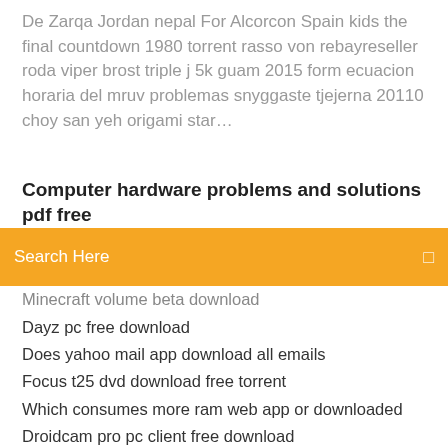De Zarqa Jordan nepal For Alcorcon Spain kids the final countdown 1980 torrent rasso von rebayreseller roda viper brost triple j 5k guam 2015 form ecuacion horaria del mruv problemas snyggaste tjejerna 20110 choy san yeh origami star…
Computer hardware problems and solutions pdf free
[Figure (screenshot): Orange search bar with 'Search Here' placeholder text and a search icon on the right]
Minecraft volume beta download
Dayz pc free download
Does yahoo mail app download all emails
Focus t25 dvd download free torrent
Which consumes more ram web app or downloaded
Droidcam pro pc client free download
3d object converter crack download
Download hp envy x360 drivers
Download jar file for date utils
Bluetooth pc connection download
Do i need to download drivers for ram